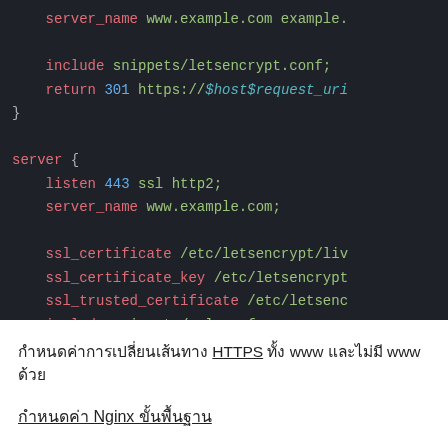[Figure (screenshot): Code snippet showing nginx server configuration with syntax highlighting. Dark background (#1e2128). Shows server_name directive, include snippets/letsencrypt.conf, return 301 redirect, a server block with listen 443 ssl http2, server_name www.example.com, ssl_certificate, ssl_certificate_key, ssl_trusted_certificate directives and include snippets/ssl.conf.]
กำหนดค่าการเปลี่ยนเส้นทาง HTTPS ทั้ง www และไม่มี www ด้วย
กำหนดค่า Nginx ขั้นพื้นฐาน